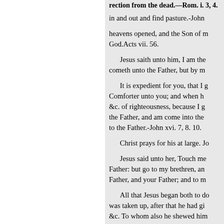rection from the dead.—Rom. i. 3, 4.
in and out and find pasture.-John
heavens opened, and the Son of m God.Acts vii. 56.
Jesus saith unto him, I am the cometh unto the Father, but by m
It is expedient for you, that I g Comforter unto you; and when h &c. of righteousness, because I g the Father, and am come into the to the Father.-John xvi. 7, 8. 10.
Christ prays for his at large. Jo
Jesus said unto her, Touch me Father: but go to my brethren, an Father, and your Father; and to m
All that Jesus began both to do was taken up, after that he had gi &c. To whom also he shewed him he had spoken these things, while cloud received him out of their s toward heaven as he went up, be